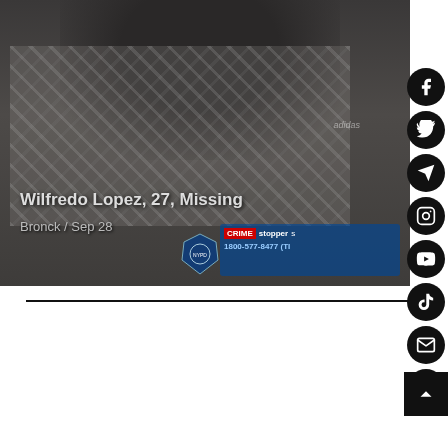[Figure (photo): Photo of Wilfredo Lopez, 27, wearing a keffiyeh scarf and dark Adidas hoodie. NYPD Crime Stoppers badge visible in bottom right of photo with phone number 1800-577-8477.]
Wilfredo Lopez, 27, Missing
Bronck / Sep 28